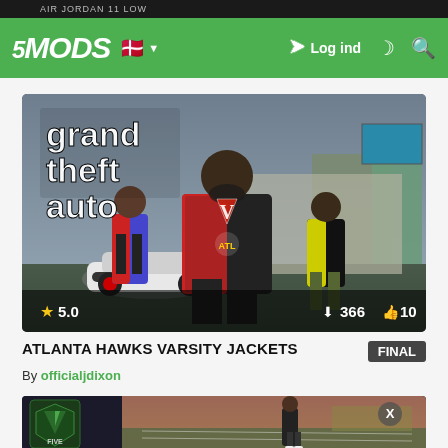5MODS — Navigation bar with logo, Danish flag, Log ind, moon icon, search icon. Corner badge: 10
[Figure (screenshot): GTA V mod screenshot showing three characters in varsity jackets in a city environment. Star rating 5.0, 366 downloads, 10 likes shown in overlay.]
ATLANTA HAWKS VARSITY JACKETS
FINAL
By officialjdixon
[Figure (screenshot): Second GTA V mod screenshot showing a character on a track with GTA Five logo overlay and an X dismiss button.]